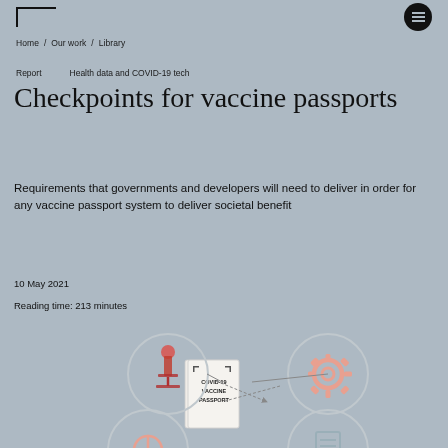Home / Our work / Library
Report    Health data and COVID-19 tech
Checkpoints for vaccine passports
Requirements that governments and developers will need to deliver in order for any vaccine passport system to deliver societal benefit
10 May 2021
Reading time: 213 minutes
[Figure (infographic): Circular infographic showing a COVID-19 Vaccine Passport in the center connected by lines to four surrounding circle icons: a microscope (top left), a gear/settings icon (top right), a compass/clock (bottom left), and a document/list icon (bottom right).]